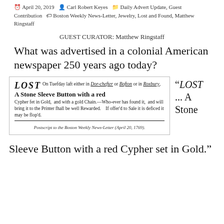April 20, 2019  Carl Robert Keyes  Daily Advert Update, Guest Contribution  Boston Weekly News-Letter, Jewelry, Lost and Found, Matthew Ringstaff
GUEST CURATOR: Matthew Ringstaff
What was advertised in a colonial American newspaper 250 years ago today?
[Figure (photo): Scan of a colonial newspaper advertisement from the Postscript to the Boston Weekly News-Letter (April 20, 1769), with the word LOST in large italic letters followed by text about a lost Stone Sleeve Button with a red Cypher set in Gold.]
Postscript to the Boston Weekly News-Letter (April 20, 1769).
“LOST ... A Stone
Sleeve Button with a red Cypher set in Gold.”